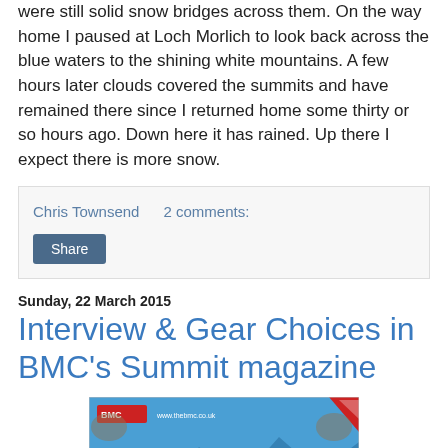were still solid snow bridges across them. On the way home I paused at Loch Morlich to look back across the blue waters to the shining white mountains. A few hours later clouds covered the summits and have remained there since I returned home some thirty or so hours ago. Down here it has rained. Up there I expect there is more snow.
Chris Townsend   2 comments:
Share
Sunday, 22 March 2015
Interview & Gear Choices in BMC's Summit magazine
[Figure (photo): Cover of BMC Summit magazine showing the word 'summit' in large text on a blue background with mountain imagery and a WIN banner]